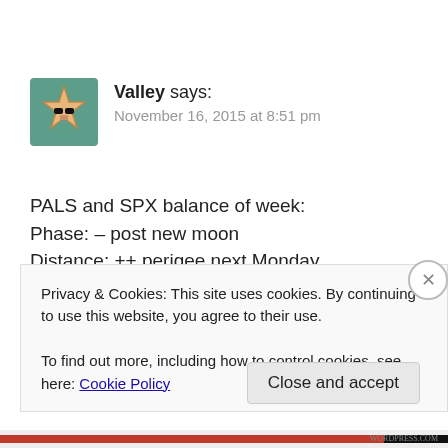[Figure (illustration): Avatar image of a cartoon star character wearing sunglasses, on a teal/green background]
Valley says:
November 16, 2015 at 8:51 pm
PALS and SPX balance of week:
Phase: – post new moon
Distance: ++ perigee next Monday
Declination: ++ south to north migration has begun
Planets: — mars still in front of Jupiter, Merc superior conjunct tomorrow
Seasonals: ++ holidays soon, market may share some
Privacy & Cookies: This site uses cookies. By continuing to use this website, you agree to their use.
To find out more, including how to control cookies, see here: Cookie Policy
Close and accept